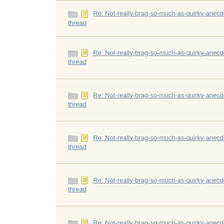| Subject | Author |
| --- | --- |
| Re: Not-really-brag-so-much-as-quirky-anecdote thread | aquinas |
| Re: Not-really-brag-so-much-as-quirky-anecdote thread | AvoCado |
| Re: Not-really-brag-so-much-as-quirky-anecdote thread | rachsr |
| Re: Not-really-brag-so-much-as-quirky-anecdote thread | Dbat |
| Re: Not-really-brag-so-much-as-quirky-anecdote thread | Dude |
| Re: Not-really-brag-so-much-as-quirky-anecdote thread | DiamondD |